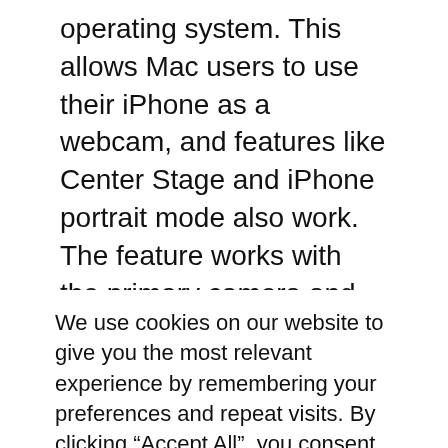operating system. This allows Mac users to use their iPhone as a webcam, and features like Center Stage and iPhone portrait mode also work. The feature works with the primary camera and the ultra-wide-angle camera on the back of the iPhone. Handoff also comes to FaceTime. This allows users to start a FaceTime call on a Mac and transfer it to an iPhone or iPad and vice versa.
We use cookies on our website to give you the most relevant experience by remembering your preferences and repeat visits. By clicking “Accept All”, you consent to the use of ALL the cookies. However, you may visit "Cookie Settings" to provide a controlled consent.
Cookie Settings | Accept All